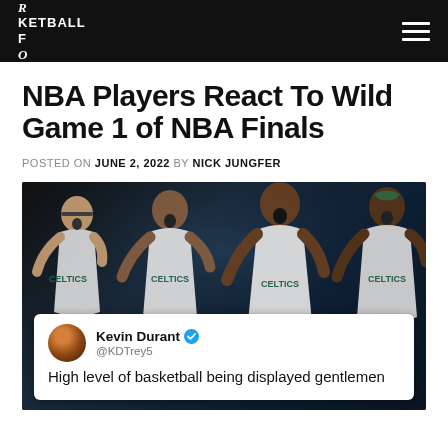BASKETBALL FOREVER
NBA Players React To Wild Game 1 of NBA Finals
POSTED ON JUNE 2, 2022 BY NICK JUNGFER
[Figure (photo): Four Boston Celtics players in white jerseys celebrating/reacting, with a Kevin Durant tweet overlay reading 'High level of basketball being displayed gentlemen' from @KDTrey5]
Kevin Durant @KDTrey5 – High level of basketball being displayed gentlemen